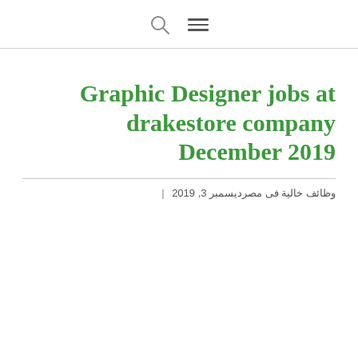[search icon] [menu icon]
Graphic Designer jobs at drakestore company December 2019
ديسمبر 3, 2019 | وظائف خالية فى مصر